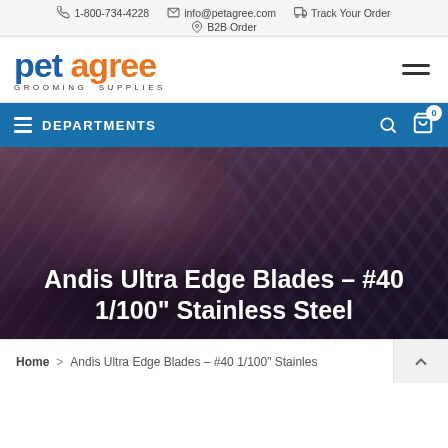1-800-734-4228  info@petagree.com  Track Your Order  B2B Order
[Figure (logo): Pet Agree Grooming Supplies logo with blue 'pet' and orange 'agree' text]
DEPARTMENTS
Andis Ultra Edge Blades - #40 1/100" Stainless Steel
Home > Andis Ultra Edge Blades - #40 1/100" Stainles